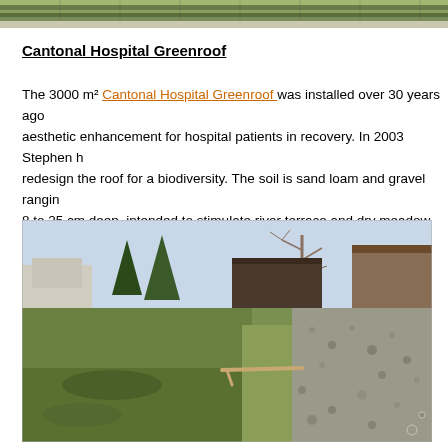[Figure (photo): Top portion of a photo showing solar panels and rooftop, cropped at top of page]
Cantonal Hospital Greenroof
The 3000 m² Cantonal Hospital Greenroof was installed over 30 years ago aesthetic enhancement for hospital patients in recovery. In 2003 Stephen h redesign the roof for a biodiversity. The soil is sand loam and gravel rangin 8 to 25 cm deep, intended to stimulate river terrace and dry meadow habita
[Figure (photo): Photograph of the Cantonal Hospital Greenroof showing a green meadow-like rooftop with gravel areas, trees and buildings in the background]